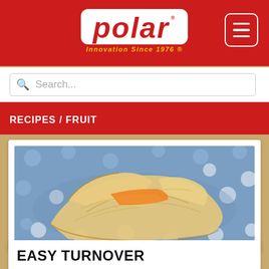[Figure (logo): Polar brand logo with red and yellow text reading 'polar' and tagline 'Innovation Since 1976', with a hamburger menu button to the right]
Search...
RECIPES / FRUIT
[Figure (photo): A golden-brown fruit turnover pastry opened to reveal orange/mango fruit filling, served on a blue polka dot plate]
EASY TURNOVER